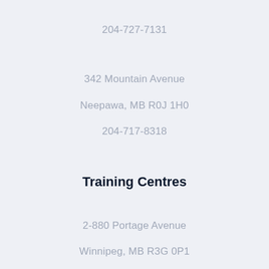204-727-7131
342 Mountain Avenue
Neepawa, MB R0J 1H0
204-717-8318
Training Centres
2-880 Portage Avenue
Winnipeg, MB R3G 0P1
204-775-8329
530 Richmond Avenue E
Brandon, MB R7A 7J5
1-877-775-8329